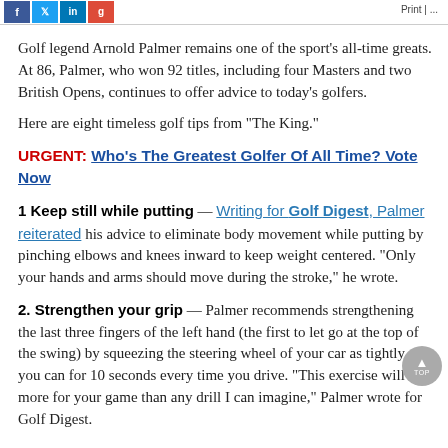f | tw | in | g+ | Print | ...
Golf legend Arnold Palmer remains one of the sport’s all-time greats. At 86, Palmer, who won 92 titles, including four Masters and two British Opens, continues to offer advice to today’s golfers.
Here are eight timeless golf tips from “The King.”
URGENT: Who's The Greatest Golfer Of All Time? Vote Now
1 Keep still while putting — Writing for Golf Digest, Palmer reiterated his advice to eliminate body movement while putting by pinching elbows and knees inward to keep weight centered. “Only your hands and arms should move during the stroke,” he wrote.
2. Strengthen your grip — Palmer recommends strengthening the last three fingers of the left hand (the first to let go at the top of the swing) by squeezing the steering wheel of your car as tightly as you can for 10 seconds every time you drive. “This exercise will do more for your game than any drill I can imagine,” Palmer wrote for Golf Digest.